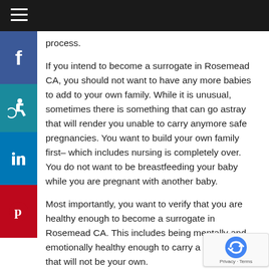Navigation bar with hamburger menu
process.
If you intend to become a surrogate in Rosemead CA, you should not want to have any more babies to add to your own family. While it is unusual, sometimes there is something that can go astray that will render you unable to carry anymore safe pregnancies. You want to build your own family first– which includes nursing is completely over. You do not want to be breastfeeding your baby while you are pregnant with another baby.
Most importantly, you want to verify that you are healthy enough to become a surrogate in Rosemead CA. This includes being mentally and emotionally healthy enough to carry a pregnancy that will not be your own.
How to become a Surrogate in Rosemead CA: Evaluations